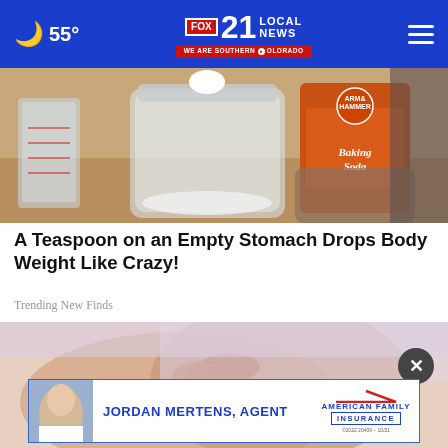🌙 55° | FOX 21 LOCAL NEWS | WE ARE SOUTHERN COLORADO
[Figure (photo): Person pouring baking soda from an Arm & Hammer box into a glass jar, with a measuring cup nearby.]
A Teaspoon on an Empty Stomach Drops Body Weight Like Crazy!
Trending New Finds
[Figure (photo): Close-up of a person pinching skin on their arm or shoulder area.]
[Figure (photo): Advertisement: Jordan Mertens, Agent - American Family Insurance. ©2022 20400 - 10/21]